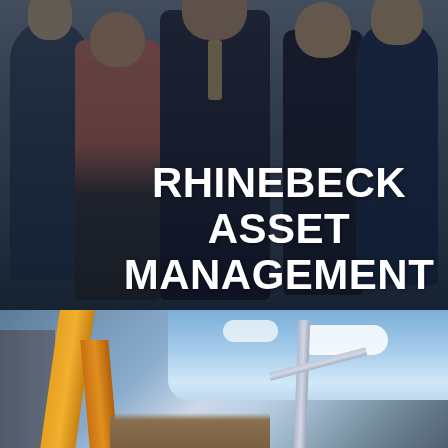[Figure (photo): Group photo of five business professionals (three men and two women) standing together against a grey background with a dark overlay. The team is styled in business attire.]
RHINEBECK ASSET MANAGEMENT
[Figure (photo): Construction site photo showing yellow crane/scaffolding equipment against a blue sky with clouds and structural steel beams of a building under construction.]